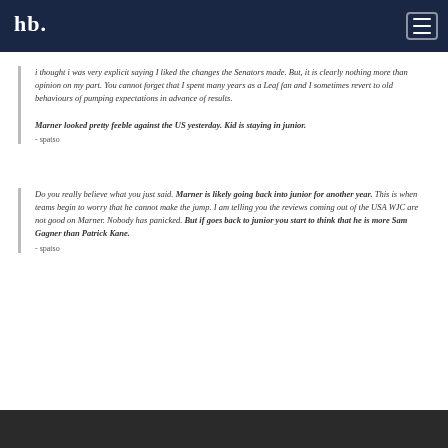hb. [logo] [hamburger menu]
i thought i was very explicit saying I liked the changes the Senators made. But, it is clearly nothing more than opinion on my part. You cannot forget that I spent many years as a Leaf fan and I sometimes revert to old behaviours of pumping expectations in advance of results.

Marner looked pretty feeble against the US yesterday. Kid is staying in junior.
- spatso
Do you really believe what you just said. Marner is likely going back into junior for another year. This is when teams begin to worry that he cannot make the jump. I am telling you the reviews coming out of the USA WJC are not good on Marner. Nobody has panicked. But if goes back to junior you start to think that he is more Sam Gagner than Patrick Kane.
- spatso